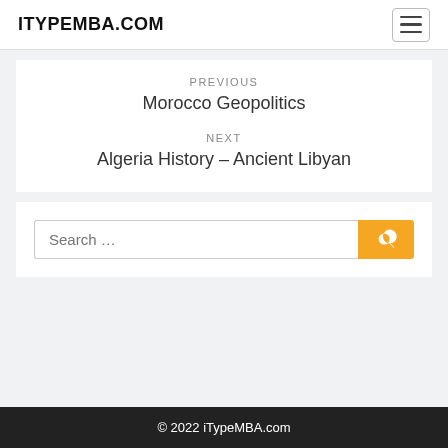ITYPEMBA.COM
PREVIOUS
Morocco Geopolitics
NEXT
Algeria History – Ancient Libyan
Search …
© 2022 iTypeMBA.com